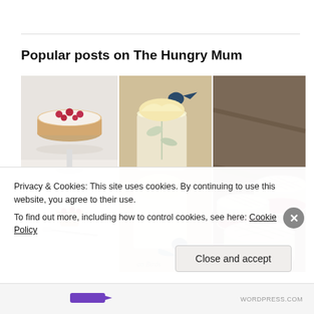Popular posts on The Hungry Mum
[Figure (photo): Three food photos side by side: left shows a raspberry cake on a cake stand with a slice on a plate and spoon; middle shows lemon meringue desserts in glasses on a bird-patterned cloth; right shows stacked cream-filled sandwich cookies.]
Privacy & Cookies: This site uses cookies. By continuing to use this website, you agree to their use.
To find out more, including how to control cookies, see here: Cookie Policy
Close and accept